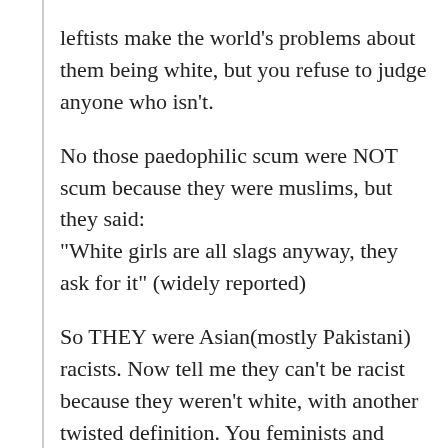leftists make the world's problems about them being white, but you refuse to judge anyone who isn't.

No those paedophilic scum were NOT scum because they were muslims, but they said:
"White girls are all slags anyway, they ask for it" (widely reported)

So THEY were Asian(mostly Pakistani) racists. Now tell me they can't be racist because they weren't white, with another twisted definition. You feminists and leftists will throw underage girls under a bus if the